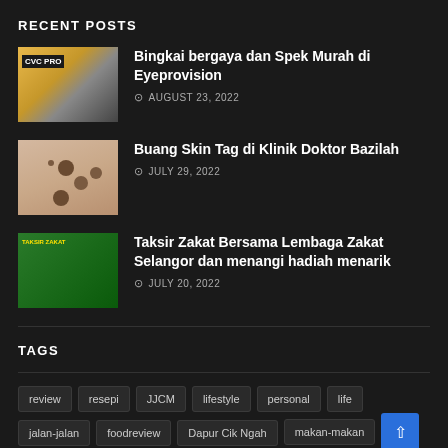RECENT POSTS
Bingkai bergaya dan Spek Murah di Eyeprovision | AUGUST 23, 2022
Buang Skin Tag di Klinik Doktor Bazilah | JULY 29, 2022
Taksir Zakat Bersama Lembaga Zakat Selangor dan menangi hadiah menarik | JULY 20, 2022
TAGS
review
resepi
JJCM
lifestyle
personal
life
jalan-jalan
foodreview
Dapur Cik Ngah
makan-makan
blog
30 days challenge
event
merepek
parenting